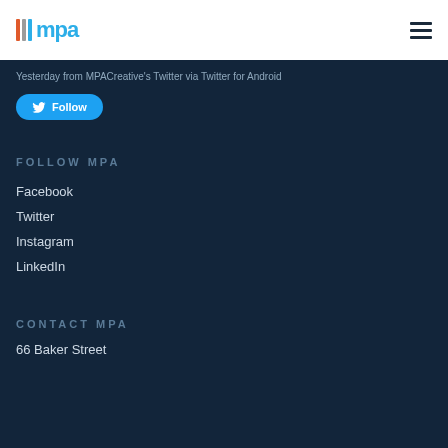[Figure (logo): MPA logo with colored vertical bars and blue mpa text]
Yesterday from MPACreative's Twitter via Twitter for Android
Follow
FOLLOW MPA
Facebook
Twitter
Instagram
LinkedIn
CONTACT MPA
66 Baker Street